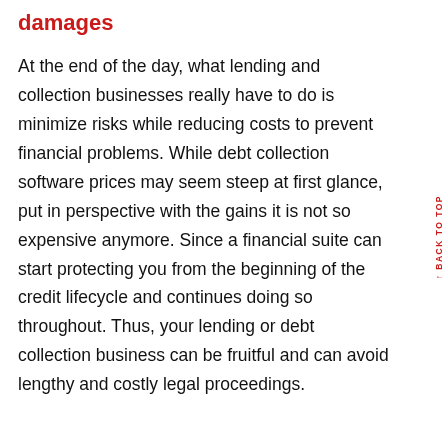damages
At the end of the day, what lending and collection businesses really have to do is minimize risks while reducing costs to prevent financial problems. While debt collection software prices may seem steep at first glance, put in perspective with the gains it is not so expensive anymore. Since a financial suite can start protecting you from the beginning of the credit lifecycle and continues doing so throughout. Thus, your lending or debt collection business can be fruitful and can avoid lengthy and costly legal proceedings.
BACK TO TOP ↑